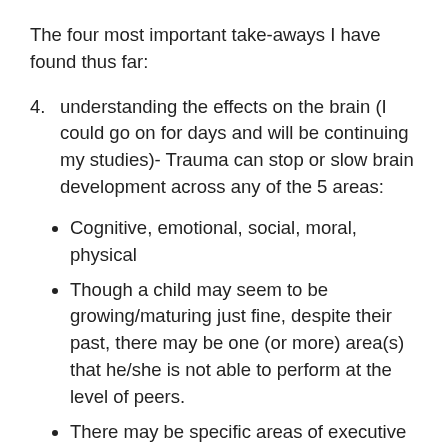The four most important take-aways I have found thus far:
4. understanding the effects on the brain (I could go on for days and will be continuing my studies)- Trauma can stop or slow brain development across any of the 5 areas:
Cognitive, emotional, social, moral, physical
Though a child may seem to be growing/maturing just fine, despite their past, there may be one (or more) area(s) that he/she is not able to perform at the level of peers.
There may be specific areas of executive functioning that a child struggles with and will need all the support and understanding that he/she cannot help to function like a peer in...